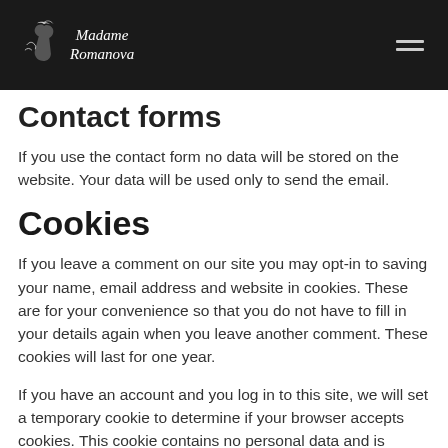Madame Romanova
Contact forms
If you use the contact form no data will be stored on the website. Your data will be used only to send the email.
Cookies
If you leave a comment on our site you may opt-in to saving your name, email address and website in cookies. These are for your convenience so that you do not have to fill in your details again when you leave another comment. These cookies will last for one year.
If you have an account and you log in to this site, we will set a temporary cookie to determine if your browser accepts cookies. This cookie contains no personal data and is discarded when you close your browser.